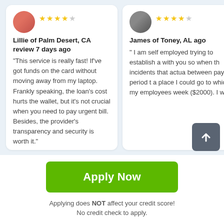Lillie of Palm Desert, CA review 7 days ago
“This service is really fast! If’ve got funds on the card without moving away from my laptop. Frankly speaking, the loan’s cost hurts the wallet, but it’s not crucial when you need to pay urgent bill. Besides, the provider’s transparency and security is worth it.”
James of Toney, AL ago
“ I am self employed trying to establish a with you so when th incidents that actua between pay period t a place I could go to which my employees week ($2000). I went
Apply Now
Applying does NOT affect your credit score!
No credit check to apply.